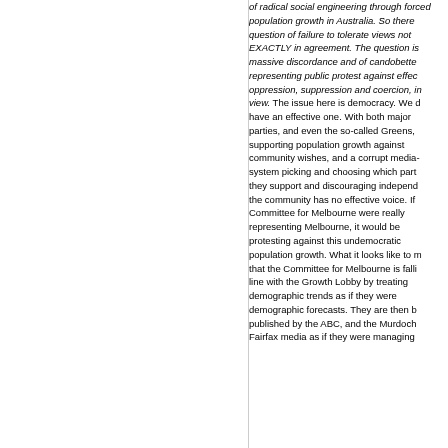of radical social engineering through forced population growth in Australia. So there is a question of failure to tolerate views not EXACTLY in agreement. The question is of massive discordance and of candobetter representing public protest against effective oppression, suppression and coercion, in my view. The issue here is democracy. We do not have an effective one. With both major parties, and even the so-called Greens, supporting population growth against community wishes, and a corrupt media-system picking and choosing which parties they support and discouraging independents, the community has no effective voice. If the Committee for Melbourne were really representing Melbourne, it would be protesting against this undemocratic population growth. What it looks like to me that the Committee for Melbourne is falling into line with the Growth Lobby by treating demographic trends as if they were demographic forecasts. They are then being published by the ABC, and the Murdoch and Fairfax media as if they were managing...